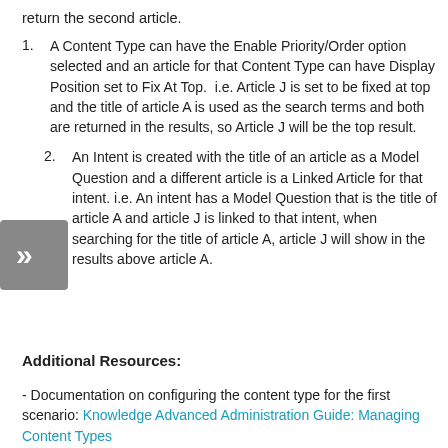return the second article.
A Content Type can have the Enable Priority/Order option selected and an article for that Content Type can have Display Position set to Fix At Top.  i.e. Article J is set to be fixed at top and the title of article A is used as the search terms and both are returned in the results, so Article J will be the top result.
An Intent is created with the title of an article as a Model Question and a different article is a Linked Article for that intent. i.e. An intent has a Model Question that is the title of article A and article J is linked to that intent, when searching for the title of article A, article J will show in the results above article A.
Additional Resources:
- Documentation on configuring the content type for the first scenario: Knowledge Advanced Administration Guide: Managing Content Types